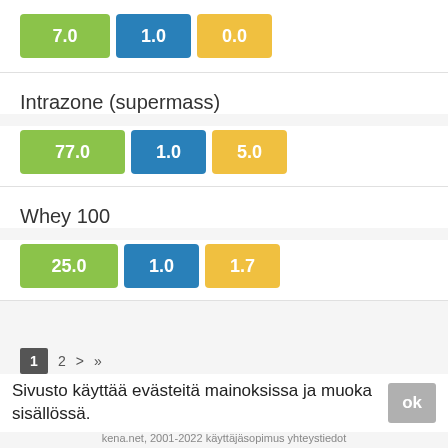[Figure (infographic): Three colored badges showing values 7.0 (green), 1.0 (blue), 0.0 (yellow)]
Intrazone (supermass)
[Figure (infographic): Three colored badges showing values 77.0 (green), 1.0 (blue), 5.0 (yellow)]
Whey 100
[Figure (infographic): Three colored badges showing values 25.0 (green), 1.0 (blue), 1.7 (yellow)]
1 2 > »
Sivusto käyttää evästeitä mainoksissa ja muoka sisällössä.
kena.net, 2001-2022 käyttäjäsopimus yhteystiedot